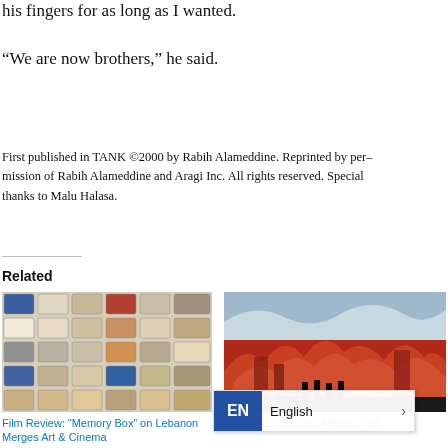his fingers for as long as I wanted.
“We are now brothers,” he said.
First published in TANK ©2000 by Rabih Alameddine. Reprinted by permission of Rabih Alameddine and Aragi Inc. All rights reserved. Special thanks to Malu Halasa.
Related
[Figure (photo): Grid of cassette tapes arranged in rows and columns]
Film Review: “Memory Box” on Lebanon Merges Art & Cinema
[Figure (photo): Stylized illustration of figures silhouetted against a red and orange fiery cityscape with blue sky]
Lebanon in a Loop: A Reti... ‘98”